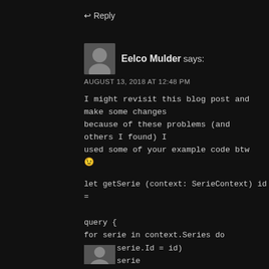↩ Reply
Eelco Mulder says:
AUGUST 13, 2018 AT 12:48 PM
I might revisit this blog post and make some changes because of these problems (and others I found) I used some of your example code btw 😉
let getSerie (context: SerieContext) id =
query {
for serie in context.Series do
where (serie.Id = id)
select serie
exactlyOne
} |> (fun x  ->  if  box  x  =  null  then
None else Some x)
↩ Reply